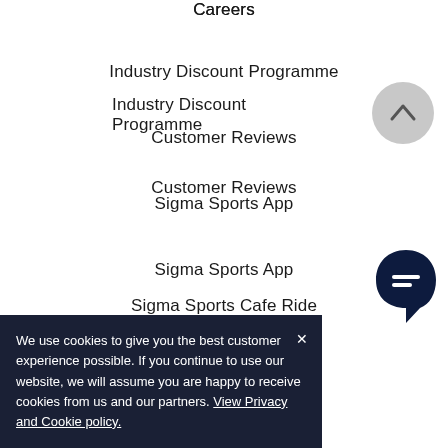Careers
Industry Discount Programme
Customer Reviews
Sigma Sports App
Sigma Sports Cafe Ride
Sigma Sports Hub
Sigma Sports Podcast
[Figure (illustration): Scroll-to-top button: light grey circle with upward chevron arrow]
[Figure (illustration): Chat button: dark navy teardrop/shield shape with white message/equals icon]
We use cookies to give you the best customer experience possible. If you continue to use our website, we will assume you are happy to receive cookies from us and our partners. View Privacy and Cookie policy.